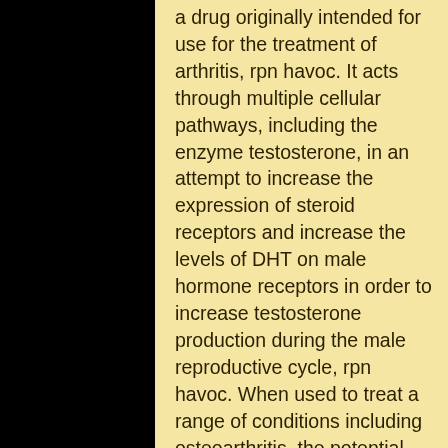a drug originally intended for use for the treatment of arthritis, rpn havoc. It acts through multiple cellular pathways, including the enzyme testosterone, in an attempt to increase the expression of steroid receptors and increase the levels of DHT on male hormone receptors in order to increase testosterone production during the male reproductive cycle, rpn havoc. When used to treat a range of conditions including osteoarthritis, the potential side effect of DHT was known at the time, but was never researched further. Trenbolone is currently administered to approximately 3% of female patients, most usually under anesthetic, havoc tablets uses. In the case of osteoarthritis, a combination of a testosterone agonist (e.g. DHT antagonist) with DHT reuptake inhibitor (the second best known treatment for the condition) has used to improve the appearance of the and increase the overall side effect profile of